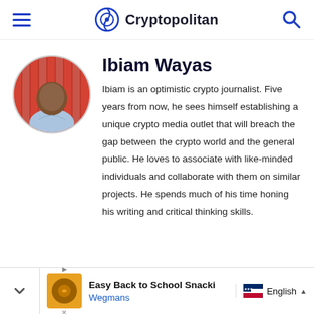Cryptopolitan
[Figure (photo): Circular profile photo of Ibiam Wayas, a man in a light blue shirt, with a red striped background]
Ibiam Wayas
Ibiam is an optimistic crypto journalist. Five years from now, he sees himself establishing a unique crypto media outlet that will breach the gap between the crypto world and the general public. He loves to associate with like-minded individuals and collaborate with them on similar projects. He spends much of his time honing his writing and critical thinking skills.
Easy Back to School Snacki... Wegmans | English